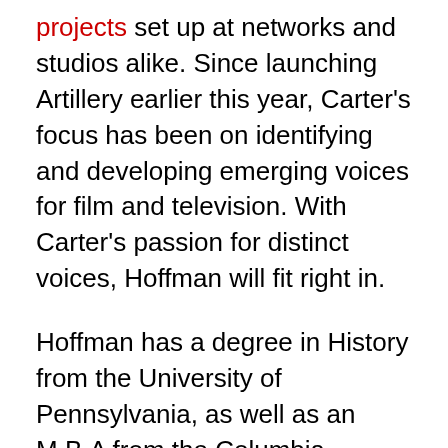projects set up at networks and studios alike. Since launching Artillery earlier this year, Carter's focus has been on identifying and developing emerging voices for film and television. With Carter's passion for distinct voices, Hoffman will fit right in.
Hoffman has a degree in History from the University of Pennsylvania, as well as an M.B.A from the Columbia Business School. After 15 years in the financial services industry, he followed his passion and embarked on a writing career.
Hoffman's scripts have won numerous awards and accolades. Most recently, his feature spec script The Moon, The Stars and All The Planets was a Nicholl Fellowship Semi Finalist and his Launch Pad entry